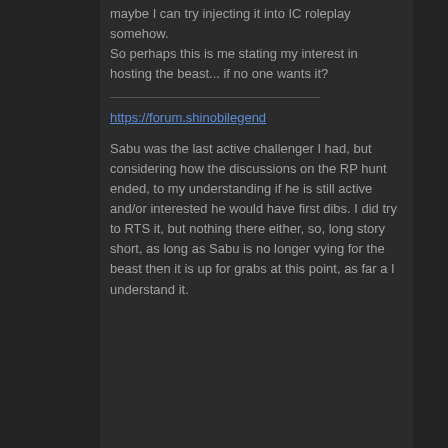maybe I can try injecting it into IC roleplay somehow. So perhaps this is me stating my interest in hosting the beast... if no one wants it?
https://forum.shinobilegend
Sabu was the last active challenger I had, but considering how the discussions on the RP hunt ended, to my understanding if he is still active and/or interested he would have first dibs. I did try to RTS it, but nothing there either, so, long story short, as long as Sabu is no longer vying for the beast then it is up for grabs at this point, as far a I understand it.